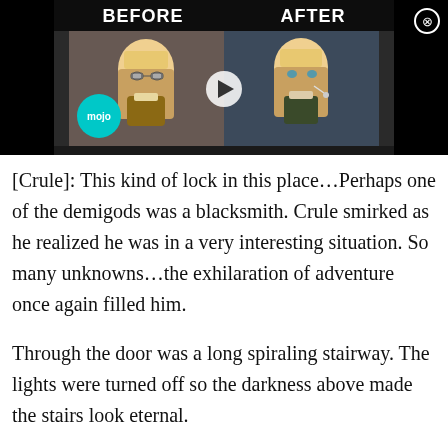[Figure (screenshot): A 'Before and After' anime character comparison image from WatchMojo (mojo logo visible). Left side shows an anime character with glasses and blonde hair (Before), right side shows the same character without glasses, more mature-looking (After). A play button is visible in the center. A close (X) button is in the top right corner.]
[Crule]: This kind of lock in this place…Perhaps one of the demigods was a blacksmith. Crule smirked as he realized he was in a very interesting situation. So many unknowns…the exhilaration of adventure once again filled him.
Through the door was a long spiraling stairway. The lights were turned off so the darkness above made the stairs look eternal.